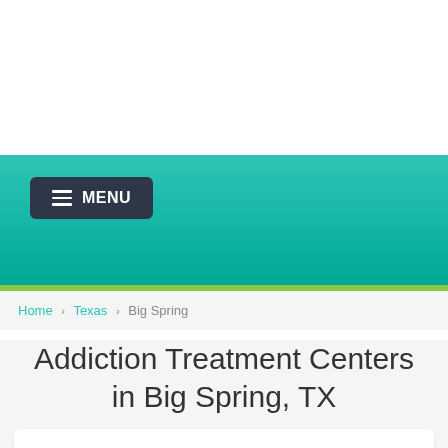MENU
Home › Texas › Big Spring
Addiction Treatment Centers in Big Spring, TX
West Texas Centers
West Texas Centers is based in Big Spring, Texas - (319 Runnels Street 79720).